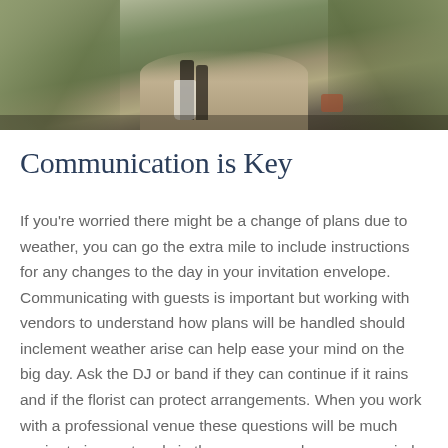[Figure (photo): Wedding photo showing a couple walking on a path outdoors, surrounded by trees and greenery. The bride's white dress and a basket are visible.]
Communication is Key
If you're worried there might be a change of plans due to weather, you can go the extra mile to include instructions for any changes to the day in your invitation envelope. Communicating with guests is important but working with vendors to understand how plans will be handled should inclement weather arise can help ease your mind on the big day. Ask the DJ or band if they can continue if it rains and if the florist can protect arrangements. When you work with a professional venue these questions will be much easier to iron out early in the process and ease your mind that your outdoor wedding will be a successful and memorable one no matter what weather comes along.